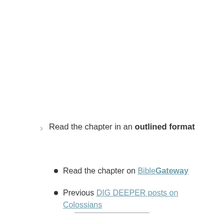Read the chapter in an outlined format
Read the chapter on BibleGateway
Previous DIG DEEPER posts on Colossians